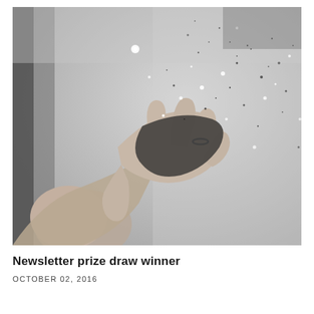[Figure (photo): Black and white photograph of a hand holding glitter/sparkles that are scattering against a light background. A ring is visible on one finger. The image is artistic and monochromatic.]
Newsletter prize draw winner
OCTOBER 02, 2016